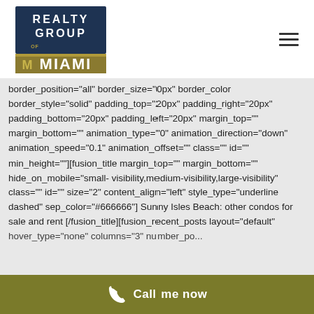[Figure (logo): Realty Group of Miami logo — dark navy rectangle with white text REALTY GROUP and gold MIAMI text below]
border_position="all" border_size="0px" border_color border_style="solid" padding_top="20px" padding_right="20px" padding_bottom="20px" padding_left="20px" margin_top="" margin_bottom="" animation_type="0" animation_direction="down" animation_speed="0.1" animation_offset="" class="" id="" min_height=""][fusion_title margin_top="" margin_bottom="" hide_on_mobile="small-visibility,medium-visibility,large-visibility" class="" id="" size="2" content_align="left" style_type="underline dashed" sep_color="#666666"] Sunny Isles Beach: other condos for sale and rent [/fusion_title][fusion_recent_posts layout="default" hover_type="none" columns="3" number_posts="25" offset=""
Call me now